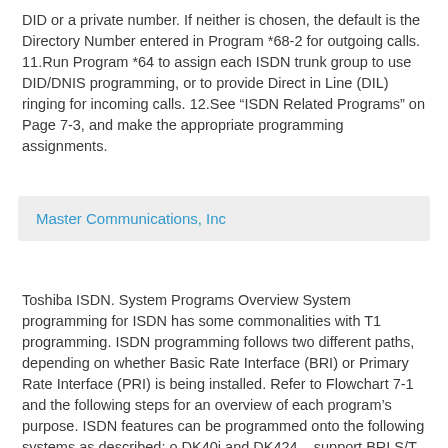DID or a private number. If neither is chosen, the default is the Directory Number entered in Program *68-2 for outgoing calls. 11.Run Program *64 to assign each ISDN trunk group to use DID/DNIS programming, or to provide Direct in Line (DIL) ringing for incoming calls. 12.See “ISDN Related Programs” on Page 7-3, and make the appropriate programming assignments.
Master Communications, Inc
Toshiba ISDN. System Programs Overview System programming for ISDN has some commonalities with T1 programming. ISDN programming follows two different paths, depending on whether Basic Rate Interface (BRI) or Primary Rate Interface (PRI) is being installed. Refer to Flowchart 7-1 and the following steps for an overview of each program’s purpose. ISDN features can be programmed onto the following systems as described: o DK40i and DK424 – support BRI S/T o DK40i and DK424 – will support